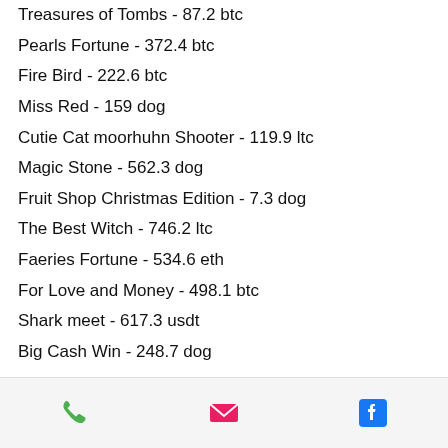Treasures of Tombs - 87.2 btc
Pearls Fortune - 372.4 btc
Fire Bird - 222.6 btc
Miss Red - 159 dog
Cutie Cat moorhuhn Shooter - 119.9 ltc
Magic Stone - 562.3 dog
Fruit Shop Christmas Edition - 7.3 dog
The Best Witch - 746.2 ltc
Faeries Fortune - 534.6 eth
For Love and Money - 498.1 btc
Shark meet - 617.3 usdt
Big Cash Win - 248.7 dog
Popular Slots:
King Billy Casino Razortooth
Bspin.io Casino Faeries Fortune
CryptoGames The Legend of Shaolin
1xSlots Casino Golden Legend
Mars Casino Funky Fruits